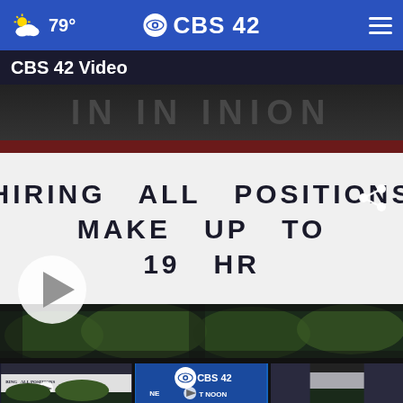79° CBS42
CBS 42 Video
[Figure (photo): A restaurant or business marquee sign with letter board reading 'HIRING ALL POSITIONS MAKE UP TO 19 HR' with a play button overlay indicating a video. The sign has a dark awning above and trees visible below.]
[Figure (screenshot): Row of three video thumbnails at the bottom: first shows the same hiring sign, second shows CBS 42 logo with 'NE T NOON' text, third is partially visible.]